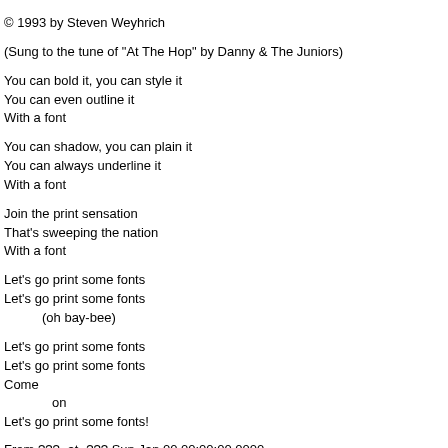© 1993 by Steven Weyhrich
(Sung to the tune of "At The Hop" by Danny & The Juniors)
You can bold it, you can style it
You can even outline it
With a font
You can shadow, you can plain it
You can always underline it
With a font
Join the print sensation
That's sweeping the nation
With a font
Let's go print some fonts
Let's go print some fonts
    (oh bay-bee)
Let's go print some fonts
Let's go print some fonts
Come
      on
Let's go print some fonts!
From ??? -at- ??? Sun Jan 00 00:00:00 0000